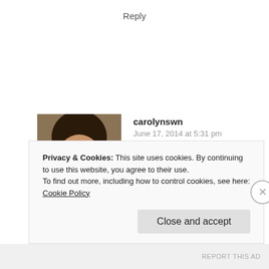Reply
[Figure (photo): Avatar photo of carolynswn, a person wearing glasses holding a book or item, dark hair]
carolynswn
June 17, 2014 at 5:31 pm
👍 0 👎 0 ℹ Rate This
I am so glad you detailed the differences between the three. I did not
Privacy & Cookies: This site uses cookies. By continuing to use this website, you agree to their use.
To find out more, including how to control cookies, see here: Cookie Policy
Close and accept
REPORT THIS AD